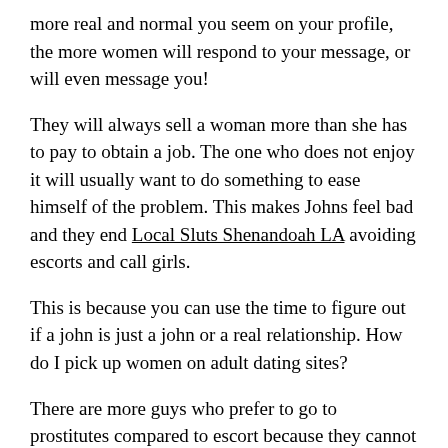more real and normal you seem on your profile, the more women will respond to your message, or will even message you!
They will always sell a woman more than she has to pay to obtain a job. The one who does not enjoy it will usually want to do something to ease himself of the problem. This makes Johns feel bad and they end Local Sluts Shenandoah LA avoiding escorts and call girls.
This is because you can use the time to figure out if a john is just a john or a real relationship. How do I pick up women on adult dating sites?
There are more guys who prefer to go to prostitutes compared to escort because they cannot wait to get home after work and this makes them feel inadequateat night.